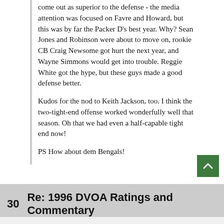come out as superior to the defense - the media attention was focused on Favre and Howard, but this was by far the Packer D's best year. Why? Sean Jones and Robinson were about to move on, rookie CB Craig Newsome got hurt the next year, and Wayne Simmons would get into trouble. Reggie White got the hype, but these guys made a good defense better.
Kudos for the nod to Keith Jackson, too. I think the two-tight-end offense worked wonderfully well that season. Oh that we had even a half-capable tight end now!
PS How about dem Bengals!
30   Re: 1996 DVOA Ratings and Commentary